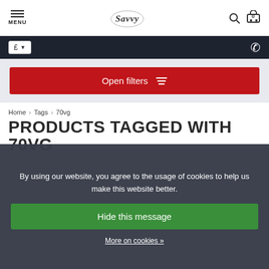MENU | Savvy logo | Search | Cart 0
£ ▼ [phone icon]
Open filters
Home › Tags › 70vg
PRODUCTS TAGGED WITH 70VG
By using our website, you agree to the usage of cookies to help us make this website better.
Hide this message
More on cookies »